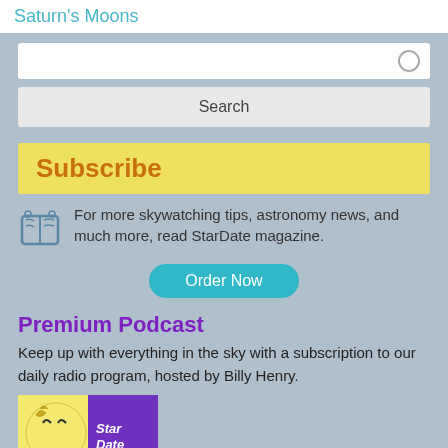Saturn's Moons
Search
Subscribe
For more skywatching tips, astronomy news, and much more, read StarDate magazine.
Order Now
Premium Podcast
Keep up with everything in the sky with a subscription to our daily radio program, hosted by Billy Henry.
[Figure (logo): StarDate magazine logo with moon illustration on yellow and purple background]